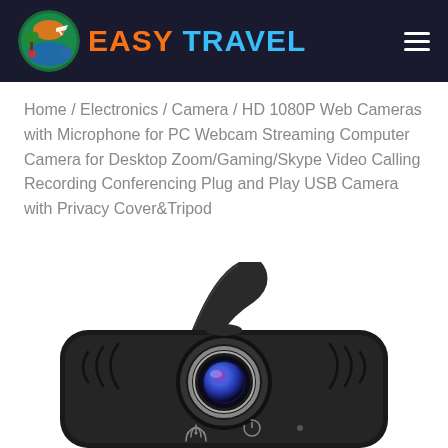EASY TRAVEL
Home / Electronics / Camera / HD 1080P Web Cameras with Microphone for PC Webcam Streaming Computer Camera for Desktop Zoom/Gaming/Skype Video Calling Recording Conferencing Plug and Play USB Camera with Privacy Cover&Tripod
[Figure (photo): A black HD 1080P webcam with a privacy cover/lens cap flipped open, showing the camera lens with blue/purple tint, with speaker grilles on both sides and indicator icons at the bottom.]